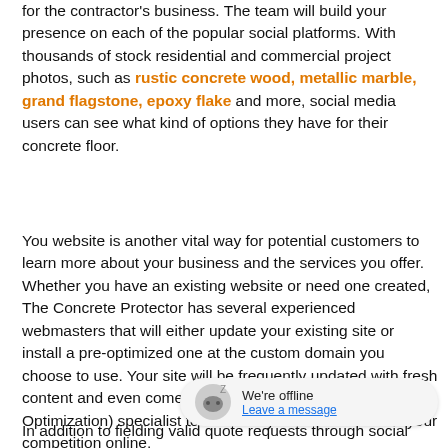for the contractor's business. The team will build your presence on each of the popular social platforms. With thousands of stock residential and commercial project photos, such as rustic concrete wood, metallic marble, grand flagstone, epoxy flake and more, social media users can see what kind of options they have for their concrete floor.
You website is another vital way for potential customers to learn more about your business and the services you offer. Whether you have an existing website or need one created, The Concrete Protector has several experienced webmasters that will either update your existing site or install a pre-optimized one at the custom domain you choose to use. Your site will be frequently updated with fresh content and even comes with an SEO (Search Engine Optimization) specialist to enhance your site to beat out your competition online.
In addition to fielding valid quote requests through social